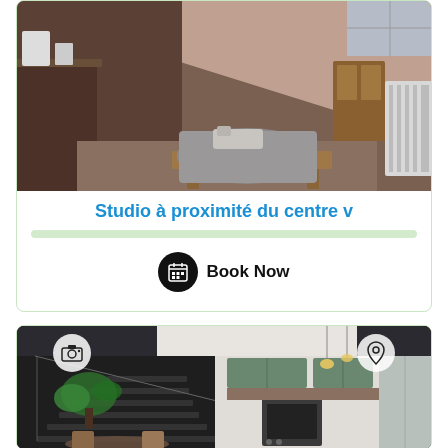[Figure (photo): Interior photo of a studio apartment with a sloped ceiling, single bed, wooden bench/shelf, and radiator on the right. Warm brown/terracotta tones.]
Studio à proximité du centre v
[Figure (other): Green rating/score bar below the title]
Book Now
[Figure (photo): Interior photo of a duplex/loft apartment showing a dark metal staircase on the left, green plants, and a modern kitchen with sage green cabinets, pendant lights, and a refrigerator on the right. Camera icon overlay on upper left, location pin icon overlay on upper right.]